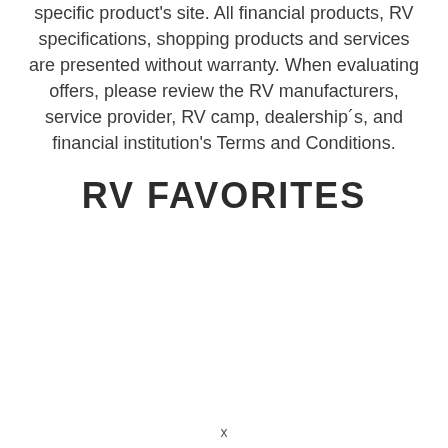specific product's site. All financial products, RV specifications, shopping products and services are presented without warranty. When evaluating offers, please review the RV manufacturers, service provider, RV camp, dealership´s, and financial institution's Terms and Conditions.
RV FAVORITES
x